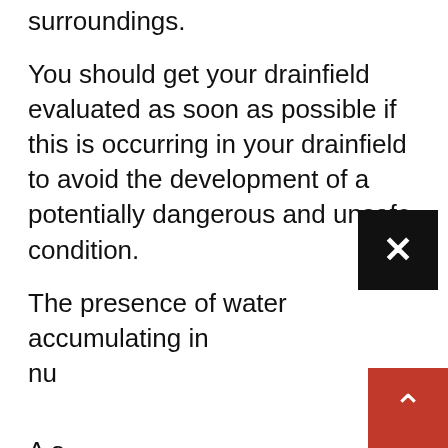surroundings.
You should get your drainfield evaluated as soon as possible if this is occurring in your drainfield to avoid the development of a potentially dangerous and unsafe condition.
The presence of water accumulating in nu[merous areas] [indicates] ind[ication of a problem]
A s[ystem that is failing] d wit[h problems may need to be address] ed to [...]
Ba[ckups or sewage] up[welling from] om of [...] so[il surface] [...]